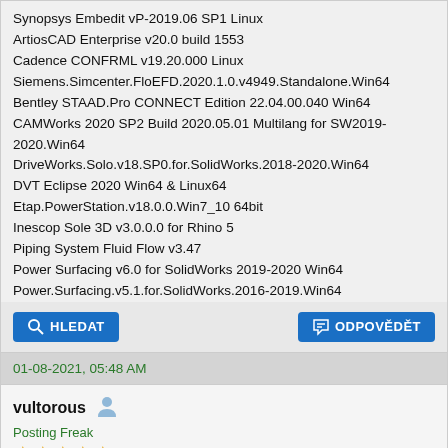Synopsys Embedit vP-2019.06 SP1 Linux
ArtiosCAD Enterprise v20.0 build 1553
Cadence CONFRML v19.20.000 Linux
Siemens.Simcenter.FloEFD.2020.1.0.v4949.Standalone.Win64
Bentley STAAD.Pro CONNECT Edition 22.04.00.040 Win64
CAMWorks 2020 SP2 Build 2020.05.01 Multilang for SW2019-2020.Win64
DriveWorks.Solo.v18.SP0.for.SolidWorks.2018-2020.Win64
DVT Eclipse 2020 Win64 & Linux64
Etap.PowerStation.v18.0.0.Win7_10 64bit
Inescop Sole 3D v3.0.0.0 for Rhino 5
Piping System Fluid Flow v3.47
Power Surfacing v6.0 for SolidWorks 2019-2020 Win64
Power.Surfacing.v5.1.for.SolidWorks.2016-2019.Win64
HLEDAT | ODPOVĚDĚT
01-08-2021, 05:48 AM
vultorous
Posting Freak
★★★★★
RE: Concept GateVision v7.0
Sieb187.9ThesCHAPSexyAutrSoviCAPPManoTracStorOperBla...